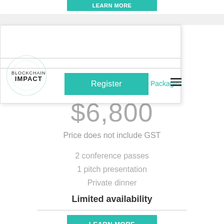[Figure (screenshot): Partial teal 'Learn More' button cropped at top of page]
[Figure (screenshot): Blockchain Impact website navigation bar with logo, Register button, Packages link, and hamburger menu]
$6,800
Price does not include GST
2 conference passes
1 pitch presentation
Private dinner
Limited availability
[Figure (screenshot): Partial teal 'Learn More' button at bottom of page]